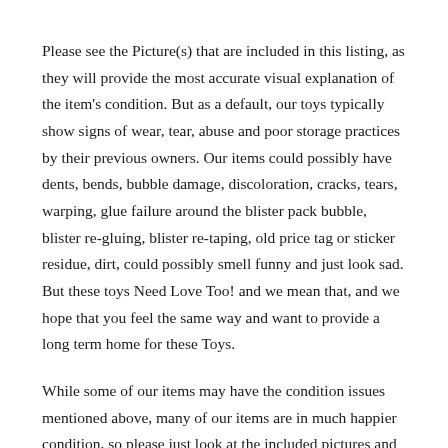Please see the Picture(s) that are included in this listing, as they will provide the most accurate visual explanation of the item's condition. But as a default, our toys typically show signs of wear, tear, abuse and poor storage practices by their previous owners. Our items could possibly have dents, bends, bubble damage, discoloration, cracks, tears, warping, glue failure around the blister pack bubble, blister re-gluing, blister re-taping, old price tag or sticker residue, dirt, could possibly smell funny and just look sad. But these toys Need Love Too! and we mean that, and we hope that you feel the same way and want to provide a long term home for these Toys.
While some of our items may have the condition issues mentioned above, many of our items are in much happier condition, so please just look at the included pictures and ask as many questions as you need, before making any